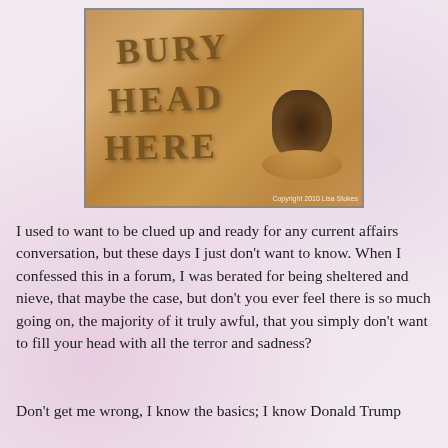[Figure (photo): A photo of sand with letters carved into it spelling 'BURY HEAD HERE' with a hole dug in the sand to the right. Copyright 2010 Lisa Stokes watermark in bottom right.]
I used to want to be clued up and ready for any current affairs conversation, but these days I just don't want to know. When I confessed this in a forum, I was berated for being sheltered and nieve, that maybe the case, but don't you ever feel there is so much going on, the majority of it truly awful, that you simply don't want to fill your head with all the terror and sadness?
Don't get me wrong, I know the basics; I know Donald Trump